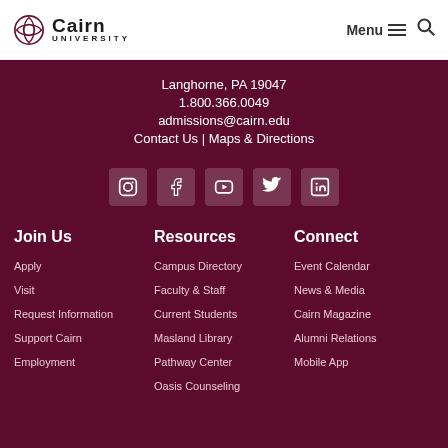[Figure (logo): Cairn University logo with Celtic knot symbol and text]
Menu
Langhorne, PA 19047
1.800.366.0049
admissions@cairn.edu
Contact Us | Maps & Directions
[Figure (illustration): Social media icons: Instagram, Facebook, YouTube, Twitter, LinkedIn]
Join Us
Apply
Visit
Request Information
Support Cairn
Employment
Resources
Campus Directory
Faculty & Staff
Current Students
Masland Library
Pathway Center
Oasis Counseling
Connect
Event Calendar
News & Media
Cairn Magazine
Alumni Relations
Mobile App